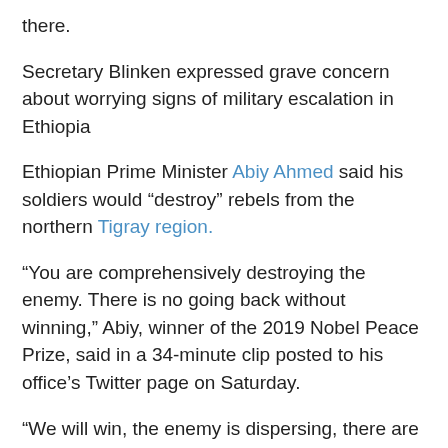there.
Secretary Blinken expressed grave concern about worrying signs of military escalation in Ethiopia
Ethiopian Prime Minister Abiy Ahmed said his soldiers would “destroy” rebels from the northern Tigray region.
“You are comprehensively destroying the enemy. There is no going back without winning,” Abiy, winner of the 2019 Nobel Peace Prize, said in a 34-minute clip posted to his office’s Twitter page on Saturday.
“We will win, the enemy is dispersing, there are areas we have to control,” he said.